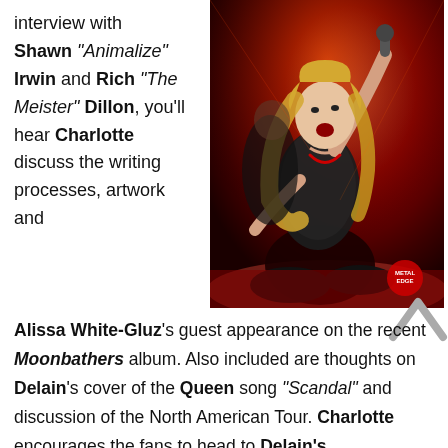interview with Shawn "Animalize" Irwin and Rich "The Meister" Dillon, you'll hear Charlotte discuss the writing processes, artwork and
[Figure (photo): Concert photo of a female singer performing on stage with a microphone, wearing a black sequined outfit, with red stage lighting and a watermark logo in the lower right corner.]
Alissa White-Gluz's guest appearance on the recent Moonbathers album. Also included are thoughts on Delain's cover of the Queen song "Scandal" and discussion of the North American Tour. Charlotte encourages the fans to head to Delain's